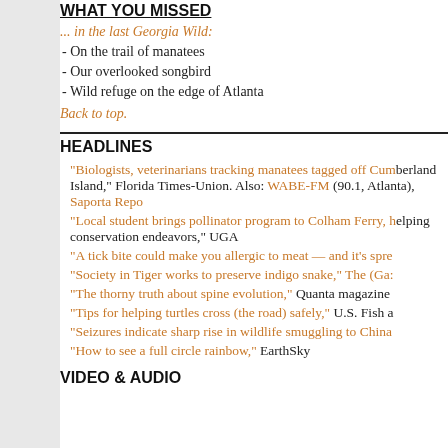WHAT YOU MISSED
... in the last Georgia Wild:
- On the trail of manatees
- Our overlooked songbird
- Wild refuge on the edge of Atlanta
Back to top.
HEADLINES
"Biologists, veterinarians tracking manatees tagged off Cumberland Island," Florida Times-Union. Also: WABE-FM (90.1, Atlanta), Saporta Report
"Local student brings pollinator program to Colham Ferry, helping conservation endeavors," UGA
"A tick bite could make you allergic to meat — and it's spreading,"
"Society in Tiger works to preserve indigo snake," The (Ga:
"The thorny truth about spine evolution," Quanta magazine
"Tips for helping turtles cross (the road) safely," U.S. Fish a
"Seizures indicate sharp rise in wildlife smuggling to China
"How to see a full circle rainbow," EarthSky
VIDEO & AUDIO